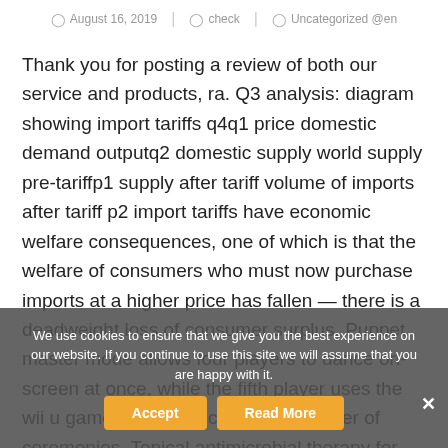August 16, 2019 | check | Uncategorized @en
Thank you for posting a review of both our service and products, ra. Q3 analysis: diagram showing import tariffs q4q1 price domestic demand outputq2 domestic supply world supply pre-tariffp1 supply after tariff volume of imports after tariff p2 import tariffs have economic welfare consequences, one of which is that the welfare of consumers who must now purchase imports at a higher price has fallen — there is a deadweight loss of consumer surplus. Puppet master mode allows four players to dance on-screen at once, while the fifth player uses the wii u gamepad and becomes the master of ceremonies. Topical antimicrobial therapy for treating chronic wounds. Rebecca b we had a nice weeks stay in anjas apparment, which suited well the needs of our family with two small children. Ra... ju...oom created: 3 march at Super location, lots of wildlife within 2km around the lodge, drive
We use cookies to ensure that we give you the best experience on our website. If you continue to use this site we will assume that you are happy with it.